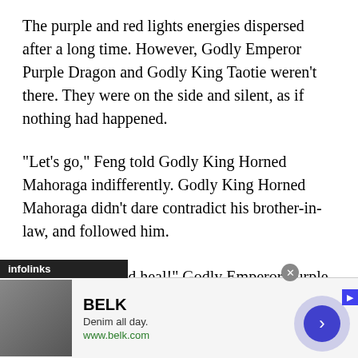The purple and red lights energies dispersed after a long time. However, Godly Emperor Purple Dragon and Godly King Taotie weren't there. They were on the side and silent, as if nothing had happened.
“Let’s go,” Feng told Godly King Horned Mahoraga indifferently. Godly King Horned Mahoraga didn’t dare contradict his brother-in-law, and followed him.
“You go back and heal!” Godly Emperor Purple Dragon cursed Godly King Golden Dragon. Godly
[Figure (screenshot): Advertisement banner: infolinks bar at bottom of text area, with a Belk ad showing 'Denim all day. www.belk.com' and a navigation arrow circle button.]